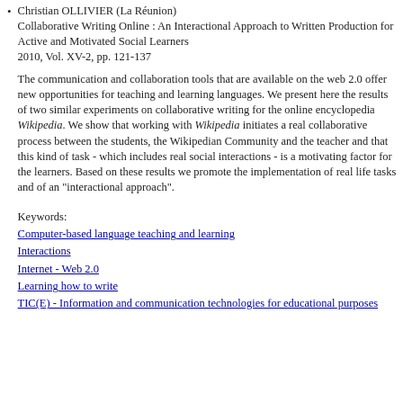Christian OLLIVIER (La Réunion) Collaborative Writing Online : An Interactional Approach to Written Production for Active and Motivated Social Learners 2010, Vol. XV-2, pp. 121-137
The communication and collaboration tools that are available on the web 2.0 offer new opportunities for teaching and learning languages. We present here the results of two similar experiments on collaborative writing for the online encyclopedia Wikipedia. We show that working with Wikipedia initiates a real collaborative process between the students, the Wikipedian Community and the teacher and that this kind of task - which includes real social interactions - is a motivating factor for the learners. Based on these results we promote the implementation of real life tasks and of an "interactional approach".
Keywords:
Computer-based language teaching and learning
Interactions
Internet - Web 2.0
Learning how to write
TIC(E) - Information and communication technologies for educational purposes